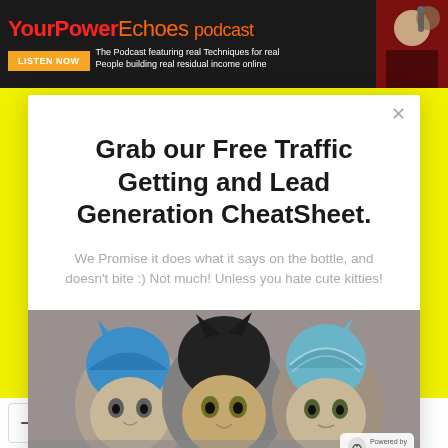YourPower Echoes podcast — LISTEN NOW — The Podcast featuring real Techniques for real People building real residual income online
Grab our Free Traffic Getting and Lead Generation CheatSheet.
We Promise it does what it says on the bottle, and doesn't bite :) Not much! Unless you hate cute kitties!
[Figure (photo): Three cats wearing knitted hoodies/hats sitting side by side]
Cookie Settings | Accept